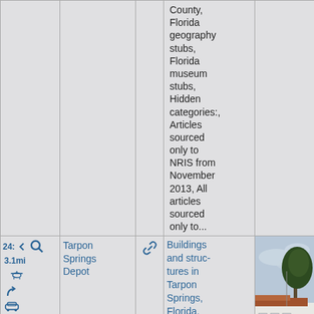| (icons/nav) | (empty) | (link icon) | County, Florida geography stubs, Florida museum stubs, Hidden categories:, Articles sourced only to NRIS from November 2013, All articles sourced only to... | (photo) |
| 24: 3.1mi (icons) | Tarpon Springs Depot | (link icon) | Buildings and structures in Tarpon Springs, Florida, Museums in Pinellas County, Florida, History museums in | (photo of Tarpon Springs Depot) |
County, Florida geography stubs, Florida museum stubs, Hidden categories:, Articles sourced only to NRIS from November 2013, All articles sourced only to...
24: 3.1mi
Tarpon Springs Depot
Buildings and struc-tures in Tarpon Springs, Florida, Museums in Pinellas County, Florida, History museums in
[Figure (photo): Photo of Tarpon Springs Depot building, a white low-rise building with red tile roof and a large tree, overcast sky, parking lot in foreground]